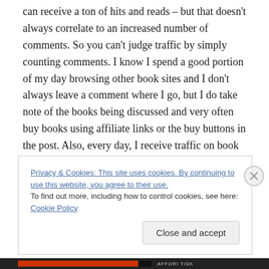can receive a ton of hits and reads – but that doesn't always correlate to an increased number of comments. So you can't judge traffic by simply counting comments. I know I spend a good portion of my day browsing other book sites and I don't always leave a comment where I go, but I do take note of the books being discussed and very often buy books using affiliate links or the buy buttons in the post. Also, every day, I receive traffic on book reviews I've written in the past. So the time you're investing today for this coverage continues to pay dividends in the future.
Privacy & Cookies: This site uses cookies. By continuing to use this website, you agree to their use.
To find out more, including how to control cookies, see here: Cookie Policy